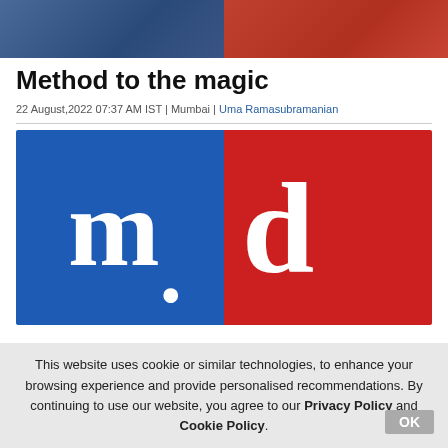[Figure (photo): Top banner photo split into two halves — left half blue/dark tones, right half red/orange tones]
Method to the magic
22 August,2022 07:37 AM IST | Mumbai | Uma Ramasubramanian
[Figure (logo): m.d logo — left half blue background with white letter 'm', right half red background with white letter 'd', separated by a dot]
This website uses cookie or similar technologies, to enhance your browsing experience and provide personalised recommendations. By continuing to use our website, you agree to our Privacy Policy and Cookie Policy.